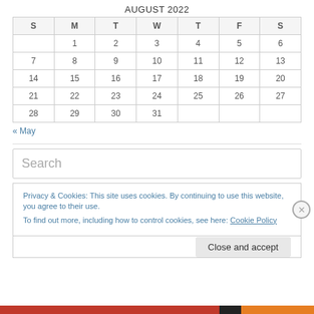AUGUST 2022
| S | M | T | W | T | F | S |
| --- | --- | --- | --- | --- | --- | --- |
|  | 1 | 2 | 3 | 4 | 5 | 6 |
| 7 | 8 | 9 | 10 | 11 | 12 | 13 |
| 14 | 15 | 16 | 17 | 18 | 19 | 20 |
| 21 | 22 | 23 | 24 | 25 | 26 | 27 |
| 28 | 29 | 30 | 31 |  |  |  |
« May
Search
Privacy & Cookies: This site uses cookies. By continuing to use this website, you agree to their use.
To find out more, including how to control cookies, see here: Cookie Policy
Close and accept